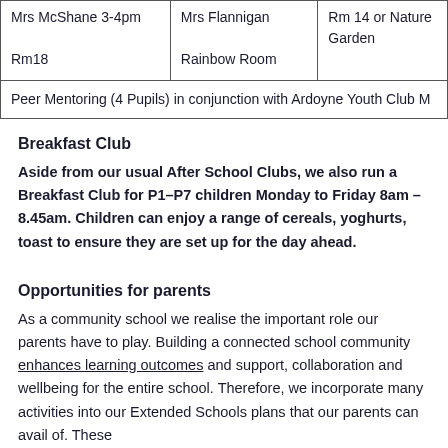| Mrs McShane 3-4pm

Rm18 | Mrs Flannigan

Rainbow Room | Rm 14 or Nature Garden |
| Peer Mentoring (4 Pupils) in conjunction with Ardoyne Youth Club M |  |  |
Breakfast Club
Aside from our usual After School Clubs, we also run a Breakfast Club for P1–P7 children Monday to Friday 8am – 8.45am. Children can enjoy a range of cereals, yoghurts, toast to ensure they are set up for the day ahead.
Opportunities for parents
As a community school we realise the important role our parents have to play. Building a connected school community enhances learning outcomes and support, collaboration and wellbeing for the entire school. Therefore, we incorporate many activities into our Extended Schools plans that our parents can avail of. These